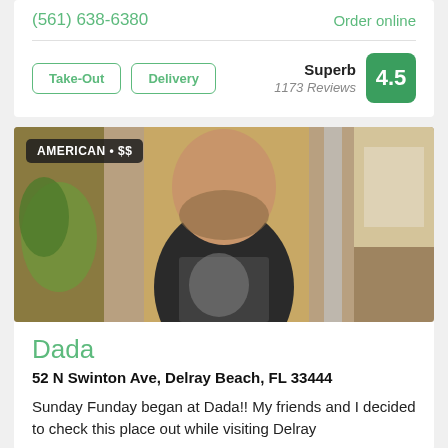(561) 638-6380
Order online
Take-Out
Delivery
Superb
1173 Reviews
4.5
[Figure (photo): A smiling bearded man wearing a black graphic t-shirt standing in a restaurant interior. A badge in the upper-left reads 'AMERICAN • $$'.]
Dada
52 N Swinton Ave, Delray Beach, FL 33444
Sunday Funday began at Dada!! My friends and I decided to check this place out while visiting Delray